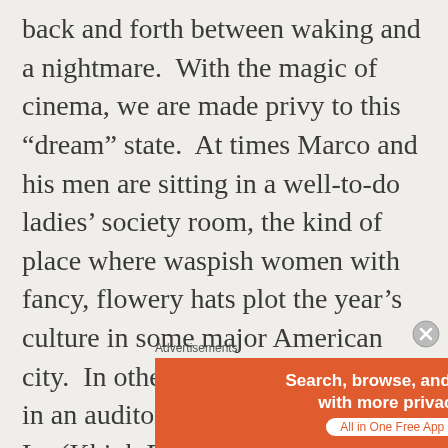back and forth between waking and a nightmare.  With the magic of cinema, we are made privy to this “dream” state.  At times Marco and his men are sitting in a well-to-do ladies’ society room, the kind of place where waspish women with fancy, flowery hats plot the year’s culture in some major American city.  In other moments, the men are in an auditorium where a Dr. Yen Lo (Khigh Dhiegh) explains to gathered Chinese and Russian communists the hypnosis/brainwashing techniques they have employed on the American soldiers.  The shifting back-and-forth between the two settings suggests that
Advertisements
[Figure (other): DuckDuckGo advertisement banner: orange left section with text 'Search, browse, and email with more privacy. All in One Free App' and dark right section with DuckDuckGo logo]